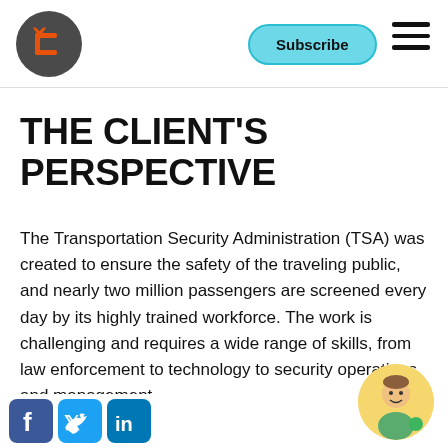Subscribe
THE CLIENT'S PERSPECTIVE
The Transportation Security Administration (TSA) was created to ensure the safety of the traveling public, and nearly two million passengers are screened every day by its highly trained workforce. The work is challenging and requires a wide range of skills, from law enforcement to technology to security operations and management.